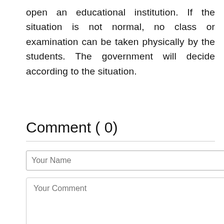open an educational institution. If the situation is not normal, no class or examination can be taken physically by the students. The government will decide according to the situation.
Comment ( 0)